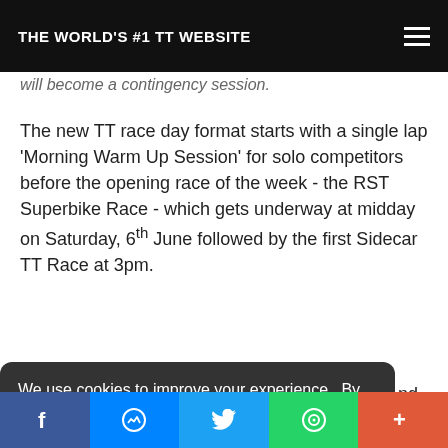THE WORLD'S #1 TT WEBSITE
will become a contingency session.
The new TT race day format starts with a single lap 'Morning Warm Up Session' for solo competitors before the opening race of the week - the RST Superbike Race - which gets underway at midday on Saturday, 6th June followed by the first Sidecar TT Race at 3pm.
We use cookies to improve your experience.  By using our site you are accepting our Cookie policy.
Got it!